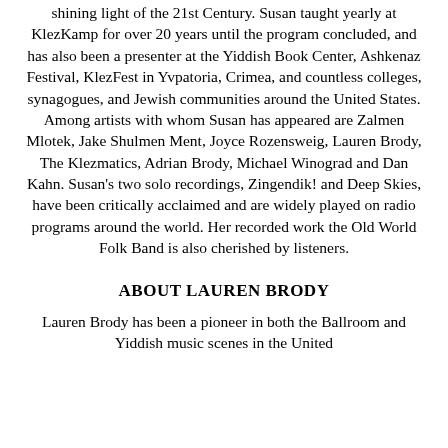shining light of the 21st Century. Susan taught yearly at KlezKamp for over 20 years until the program concluded, and has also been a presenter at the Yiddish Book Center, Ashkenaz Festival, KlezFest in Yvpatoria, Crimea, and countless colleges, synagogues, and Jewish communities around the United States. Among artists with whom Susan has appeared are Zalmen Mlotek, Jake Shulmen Ment, Joyce Rozensweig, Lauren Brody, The Klezmatics, Adrian Brody, Michael Winograd and Dan Kahn. Susan's two solo recordings, Zingendik! and Deep Skies, have been critically acclaimed and are widely played on radio programs around the world. Her recorded work the Old World Folk Band is also cherished by listeners.
ABOUT LAUREN BRODY
Lauren Brody has been a pioneer in both the Ballroom and Yiddish music scenes in the United...